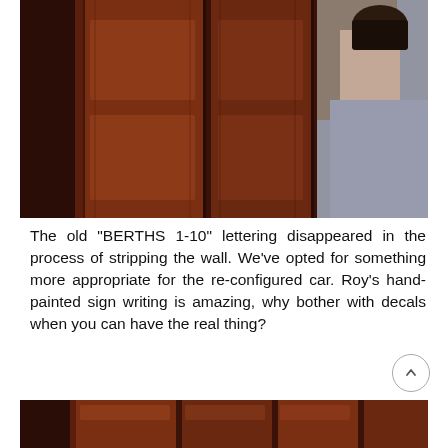[Figure (photo): Person in a grey shirt working on a dark wood-paneled wall, holding a container, appears to be stripping or refinishing the wooden surface.]
The old "BERTHS 1-10" lettering disappeared in the process of stripping the wall. We've opted for something more appropriate for the re-configured car. Roy's hand-painted sign writing is amazing, why bother with decals when you can have the real thing?
[Figure (photo): Close-up of dark reddish-brown wood paneling, partially visible at the bottom of the page.]